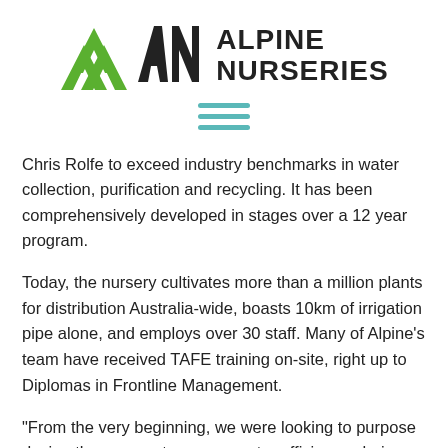[Figure (logo): Alpine Nurseries logo with green double-arrow AN icon and bold black text reading ALPINE NURSERIES]
[Figure (other): Hamburger menu icon — three horizontal teal/cyan lines]
Chris Rolfe to exceed industry benchmarks in water collection, purification and recycling. It has been comprehensively developed in stages over a 12 year program.
Today, the nursery cultivates more than a million plants for distribution Australia-wide, boasts 10km of irrigation pipe alone, and employs over 30 staff. Many of Alpine's team have received TAFE training on-site, right up to Diplomas in Frontline Management.
“From the very beginning, we were looking to purpose design the nursery to ensure water efficiency, drainage and treatment, plus integration of performance. The site is designed to current best practice, and what’s significant here is that every single recommendation was adopted in